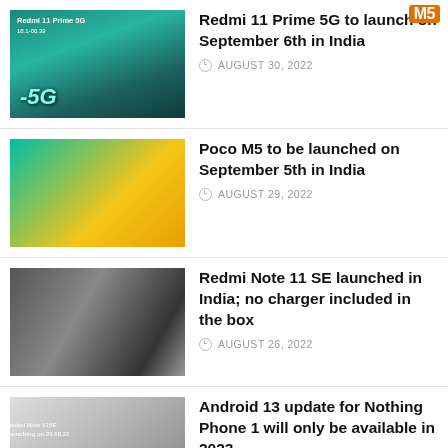Redmi 11 Prime 5G to launch on September 6th in India
Poco M5 to be launched on September 5th in India
Redmi Note 11 SE launched in India; no charger included in the box
Android 13 update for Nothing Phone 1 will only be available in 2023
Redmi Note 11 SE with Helio G95 to launch on August 26th
Poco M5 4G with MediaTek Helio G99 to launch